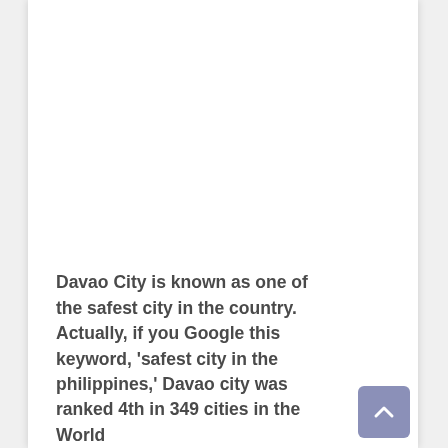Davao City is known as one of the safest city in the country. Actually, if you Google this keyword, 'safest city in the philippines,' Davao city was ranked 4th in 349 cities in the World